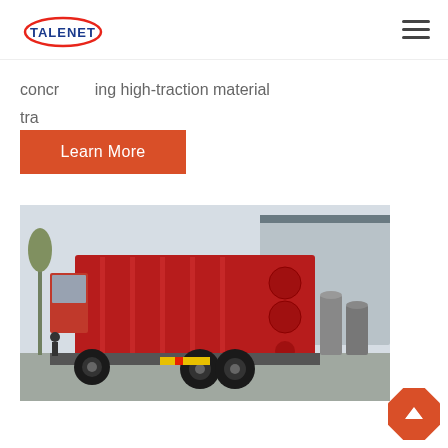TALENET [logo with hamburger menu]
concr...ing high-traction material tra
Learn More
[Figure (photo): Red dump truck parked in industrial yard with warehouse building in background]